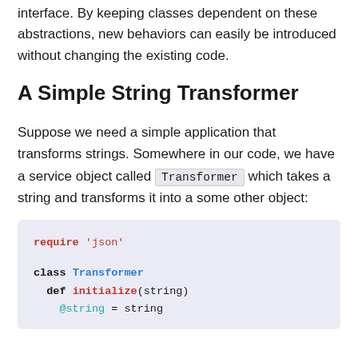interface. By keeping classes dependent on these abstractions, new behaviors can easily be introduced without changing the existing code.
A Simple String Transformer
Suppose we need a simple application that transforms strings. Somewhere in our code, we have a service object called Transformer which takes a string and transforms it into a some other object:
[Figure (screenshot): Ruby code block showing: require 'json', class Transformer, def initialize(string), @string = string]